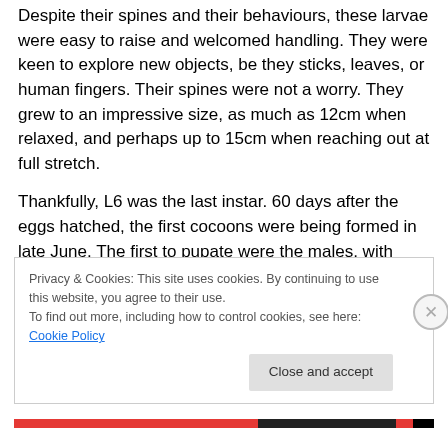Despite their spines and their behaviours, these larvae were easy to raise and welcomed handling. They were keen to explore new objects, be they sticks, leaves, or human fingers. Their spines were not a worry. They grew to an impressive size, as much as 12cm when relaxed, and perhaps up to 15cm when reaching out at full stretch.
Thankfully, L6 was the last instar. 60 days after the eggs hatched, the first cocoons were being formed in late June. The first to pupate were the males, with some females taking many days longer to reach full size. Handling the cocoons was the first time that the spines became a real
Privacy & Cookies: This site uses cookies. By continuing to use this website, you agree to their use.
To find out more, including how to control cookies, see here: Cookie Policy
Close and accept